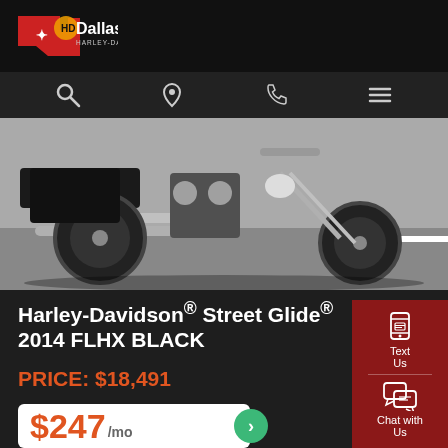Dallas Harley-Davidson
[Figure (photo): Harley-Davidson Street Glide motorcycle photographed from the side, showing chrome exhaust pipes, engine, and front wheel on a parking lot surface.]
Harley-Davidson® Street Glide® 2014 FLHX BLACK
PRICE: $18,491
$247/mo
Text Us
Chat with Us